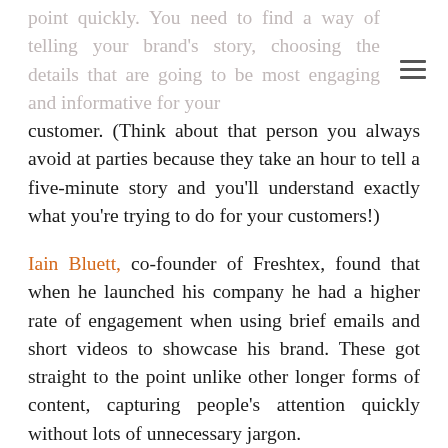point quickly. You need to find a way of telling your brand's story, choosing the details that are going to be most engaging and informative for your customer. (Think about that person you always avoid at parties because they take an hour to tell a five-minute story and you'll understand exactly what you're trying to do for your customers!)
Iain Bluett, co-founder of Freshtex, found that when he launched his company he had a higher rate of engagement when using brief emails and short videos to showcase his brand. These got straight to the point unlike other longer forms of content, capturing people's attention quickly without lots of unnecessary jargon.
James Cotton, the founder, and director of Onespacemedia (a digital creative agency), also feels that an effective way of engaging the audience is to